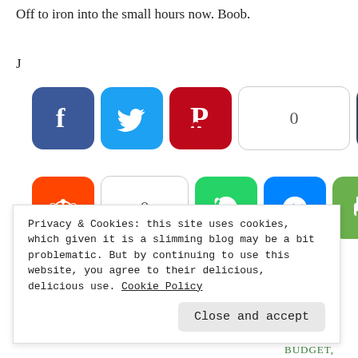Off to iron into the small hours now. Boob.
J
[Figure (screenshot): Social media sharing buttons: Facebook, Twitter, Pinterest, share count (0), Tumblr, Reddit, share count (0), WhatsApp, Messenger, Print, and a plus/more button]
Privacy & Cookies: this site uses cookies, which given it is a slimming blog may be a bit problematic. But by continuing to use this website, you agree to their delicious, delicious use. Cookie Policy
Close and accept
BUDGET,